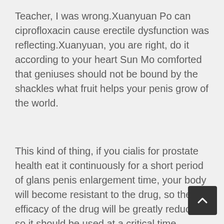Teacher, I was wrong.Xuanyuan Po can ciprofloxacin cause erectile dysfunction was reflecting.Xuanyuan, you are right, do it according to your heart Sun Mo comforted that geniuses should not be bound by the shackles what fruit helps your penis grow of the world.
This kind of thing, if you cialis for prostate health eat it continuously for a short period of glans penis enlargement time, your body will become resistant to the drug, so the efficacy of the drug will be greatly reduced, so it should be used at a critical time.
Jin Mujie Rlx Male Enhancement Pills best sexual stamina pills